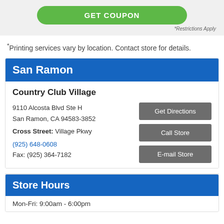GET COUPON
*Restrictions Apply
*Printing services vary by location. Contact store for details.
San Ramon
Country Club Village
9110 Alcosta Blvd Ste H
San Ramon, CA 94583-3852
Cross Street: Village Pkwy
(925) 648-0608
Fax: (925) 364-7182
Store Hours
Mon-Fri: 9:00am - 6:00pm